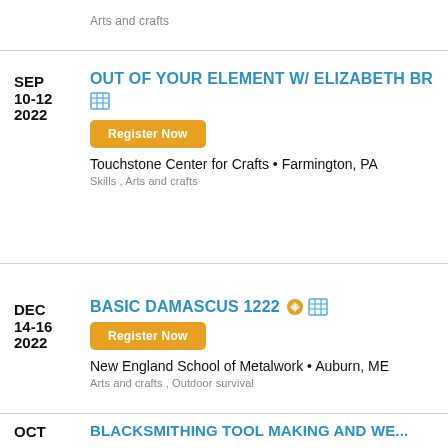Arts and crafts
OUT OF YOUR ELEMENT W/ ELIZABETH BR
[Figure (other): Grid/table icon]
Register Now
Touchstone Center for Crafts • Farmington, PA
Skills , Arts and crafts
BASIC DAMASCUS 1222
[Figure (other): Leaf/tag icon and grid icon]
Register Now
New England School of Metalwork • Auburn, ME
Arts and crafts , Outdoor survival
BLACKSMITHING TOOL MAKING AND WE...